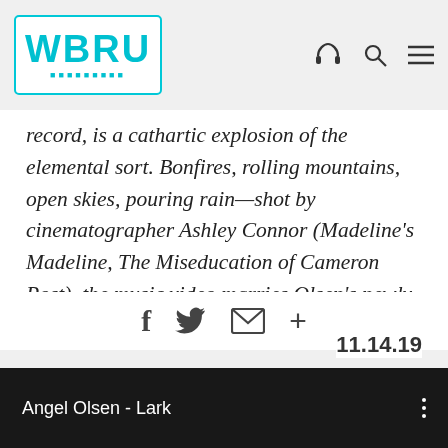WBRU [logo with icons: headphone, search, menu]
record, is a cathartic explosion of the elemental sort. Bonfires, rolling mountains, open skies, pouring rain—shot by cinematographer Ashley Connor (Madeline's Madeline, The Miseducation of Cameron Post), the music video marries Olsen's newly adopted symphonic glamour with visuals...
f  [twitter bird]  [envelope]  +
11.14.19
[Figure (screenshot): Black video player bar showing title 'Angel Olsen - Lark' with three vertical dots menu icon on the right]